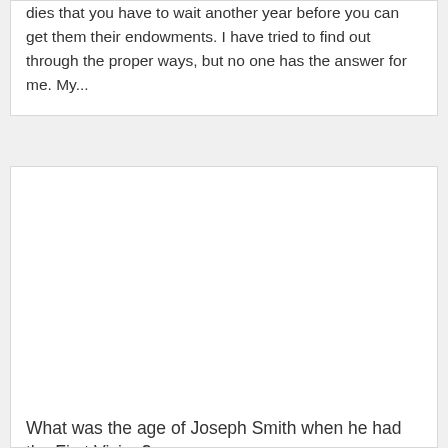dies that you have to wait another year before you can get them their endowments. I have tried to find out through the proper ways, but no one has the answer for me. My...
[Figure (other): White blank image area inside an article card]
What was the age of Joseph Smith when he had the First Vision?
Sep 17, 2019 | AAAA AskGramps Website